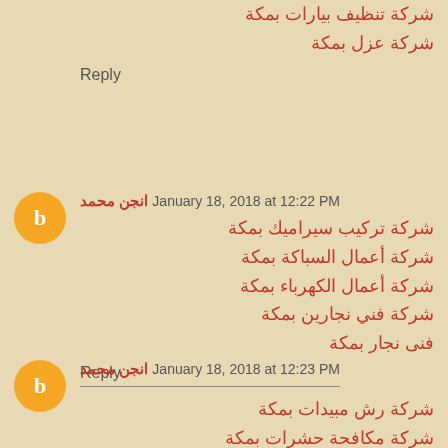شركة تنظيف بيارات بمكة
شركة عزل بمكة
Reply
انجن محمد January 18, 2018 at 12:22 PM
شركة تركيب سيراميك بمكة
شركة أعمال السباكة بمكة
شركة أعمال الكهرباء بمكة
شركة فني نجارين بمكة
فنى نجار بمكة
Reply
انجن محمد January 18, 2018 at 12:23 PM
شركة رش مبيدات بمكة
شركة مكافحة حشرات بمكة
Reply